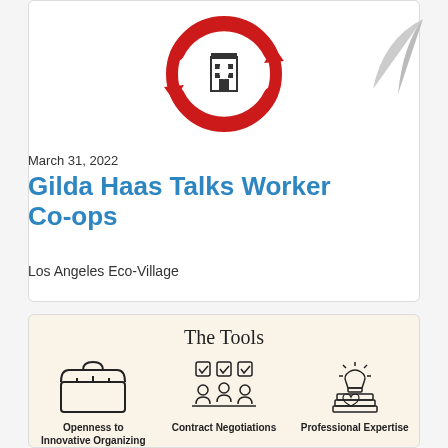[Figure (illustration): Red circular recycling arrows with a dollar sign building icon in the center; partial arrow/wing illustration at top right]
March 31, 2022
Gilda Haas Talks Worker Co-ops
Los Angeles Eco-Village
The Tools
[Figure (illustration): Toolbox icon — open box with tools inside]
Openness to Innovative Organizing
[Figure (illustration): Three people at a table with checkboxes above them — contract negotiations icon]
Contract Negotiations
[Figure (illustration): A lightbulb on a stack of books with a heart — professional expertise icon]
Professional Expertise